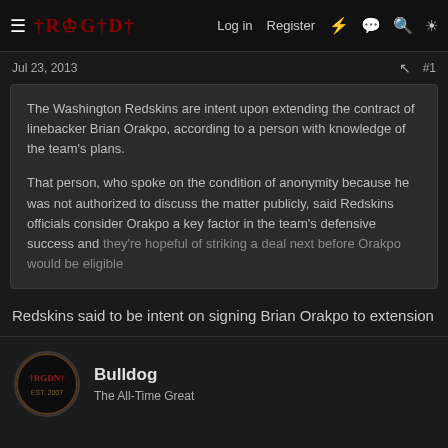☰  IRGODN  Log in  Register  ⚡  💬  🔍  🔆
Jul 23, 2013
The Washington Redskins are intent upon extending the contract of linebacker Brian Orakpo, according to a person with knowledge of the team's plans.

That person, who spoke on the condition of anonymity because he was not authorized to discuss the matter publicly, said Redskins officials consider Orakpo a key factor in the team's defensive success and they're hopeful of striking a deal next before Orakpo would be eligible...
Redskins said to be intent on signing Brian Orakpo to extension
Bulldog
The All-Time Great